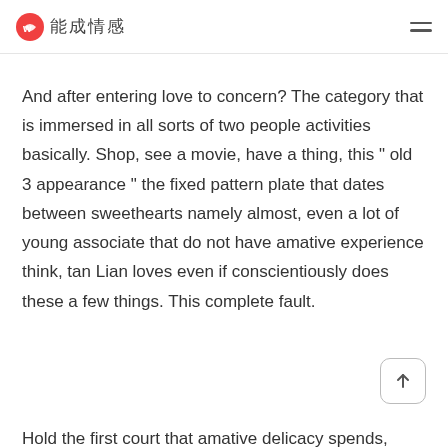能成情感
And after entering love to concern? The category that is immersed in all sorts of two people activities basically. Shop, see a movie, have a thing, this " old 3 appearance " the fixed pattern plate that dates between sweethearts namely almost, even a lot of young associate that do not have amative experience think, tan Lian loves even if conscientiously does these a few things. This complete fault.
Hold the first court that amative delicacy spends, remind oneself forever namely, "Never satisfy at the fun before,"